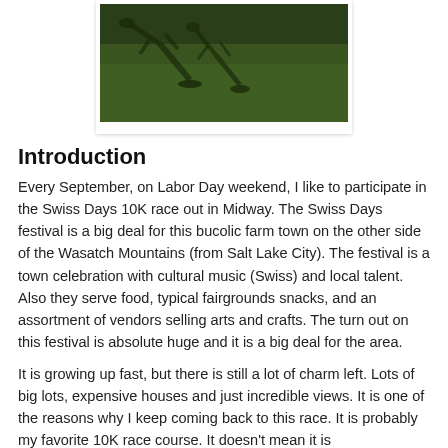[Figure (photo): Outdoor photo of a grassy field with shadows of people cast on the ground, taken from a low angle on a sunny day.]
Introduction
Every September, on Labor Day weekend, I like to participate in the Swiss Days 10K race out in Midway. The Swiss Days festival is a big deal for this bucolic farm town on the other side of the Wasatch Mountains (from Salt Lake City).   The festival is a town celebration with cultural music (Swiss) and local talent.  Also they serve food, typical fairgrounds snacks, and an assortment of vendors selling arts and crafts.  The turn out on this festival is absolute huge and it is a big deal for the area.
It is growing up fast, but there is still a lot of charm left.  Lots of big lots, expensive houses and just incredible views.  It is one of the reasons why I keep coming back to this race. It is probably my favorite 10K race course.  It doesn't mean it is